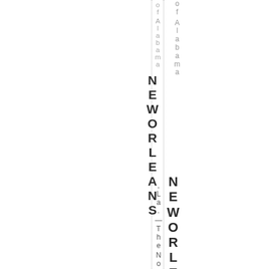of Alabama NEW ORLEANS, La. — The No. 4